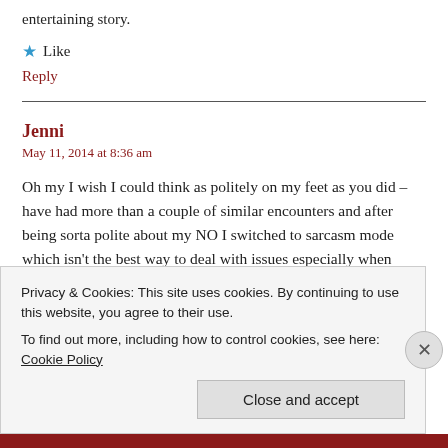entertaining story.
★ Like
Reply
Jenni
May 11, 2014 at 8:36 am
Oh my I wish I could think as politely on my feet as you did – have had more than a couple of similar encounters and after being sorta polite about my NO I switched to sarcasm mode which isn't the best way to deal with issues especially when some of them don't get sarcasm and think you are actually being serious
Privacy & Cookies: This site uses cookies. By continuing to use this website, you agree to their use.
To find out more, including how to control cookies, see here: Cookie Policy
Close and accept